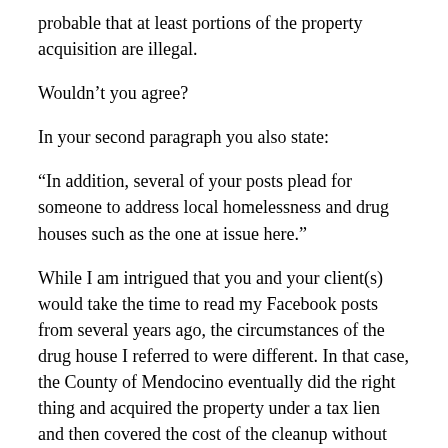probable that at least portions of the property acquisition are illegal.
Wouldn't you agree?
In your second paragraph you also state:
“In addition, several of your posts plead for someone to address local homelessness and drug houses such as the one at issue here.”
While I am intrigued that you and your client(s) would take the time to read my Facebook posts from several years ago, the circumstances of the drug house I referred to were different. In that case, the County of Mendocino eventually did the right thing and acquired the property under a tax lien and then covered the cost of the cleanup without demolishing the entire residence. Once the property was in order, it went on